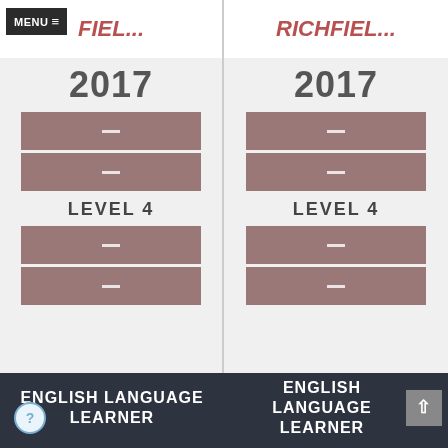[Figure (screenshot): Left column: school comparison UI showing truncated school name 'FIEL...', year 2017, stacked mauve bars with dashes, LEVEL 4 label, more bars, and ENGLISH LANGUAGE LEARNER footer. Menu button top-left.]
[Figure (screenshot): Right column: school comparison UI showing 'RICHFIEL...', year 2017, stacked mauve bars with dashes, LEVEL 4 label, more bars, and ENGLISH LANGUAGE LEARNER footer with up arrow button.]